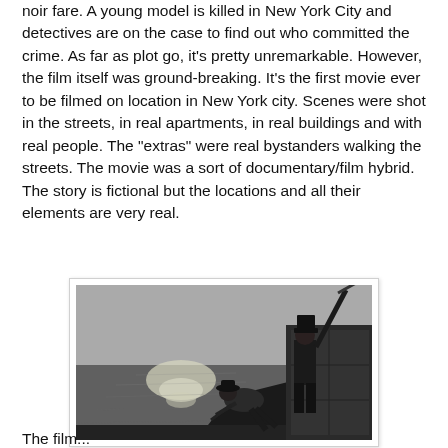noir fare. A young model is killed in New York City and detectives are on the case to find out who committed the crime. As far as plot go, it's pretty unremarkable. However, the film itself was ground-breaking. It's the first movie ever to be filmed on location in New York city. Scenes were shot in the streets, in real apartments, in real buildings and with real people. The "extras" were real bystanders walking the streets. The movie was a sort of documentary/film hybrid. The story is fictional but the locations and all their elements are very real.
[Figure (photo): Black and white film still showing two figures on what appears to be a dock or waterfront. One figure in a hat is standing and raising what looks like a pole or rod, while another figure crouches or falls below. Water and light reflections visible in the background.]
The film...